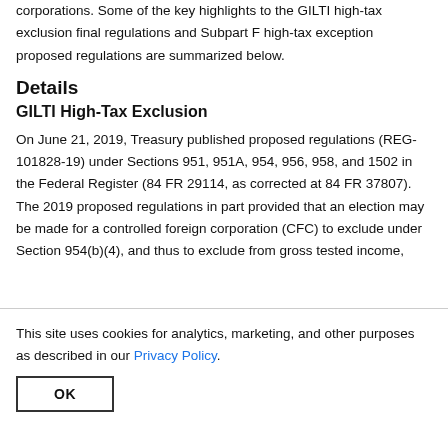corporations. Some of the key highlights to the GILTI high-tax exclusion final regulations and Subpart F high-tax exception proposed regulations are summarized below.
Details
GILTI High-Tax Exclusion
On June 21, 2019, Treasury published proposed regulations (REG-101828-19) under Sections 951, 951A, 954, 956, 958, and 1502 in the Federal Register (84 FR 29114, as corrected at 84 FR 37807). The 2019 proposed regulations in part provided that an election may be made for a controlled foreign corporation (CFC) to exclude under Section 954(b)(4), and thus to exclude from gross tested income,
This site uses cookies for analytics, marketing, and other purposes as described in our Privacy Policy.
OK